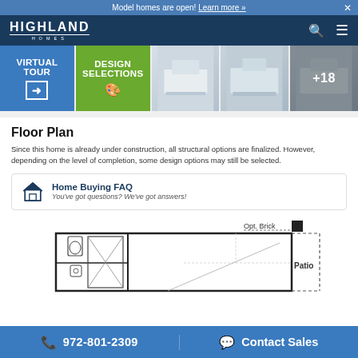Model homes are open! Learn more »
[Figure (logo): Highland Homes logo - white text on dark blue nav bar]
[Figure (screenshot): Photo strip with Virtual Tour blue tile, Design Selections green tile, and three interior kitchen photos with +18 overlay]
Floor Plan
Since this home is already under construction, all structural options are finalized. However, depending on the level of completion, some design options may still be selected.
Home Buying FAQ
You've got questions? We've got answers!
[Figure (engineering-diagram): Partial floor plan diagram showing rooms including bathroom, patio, with 'Opt. Brick' label]
972-801-2309   Contact Sales